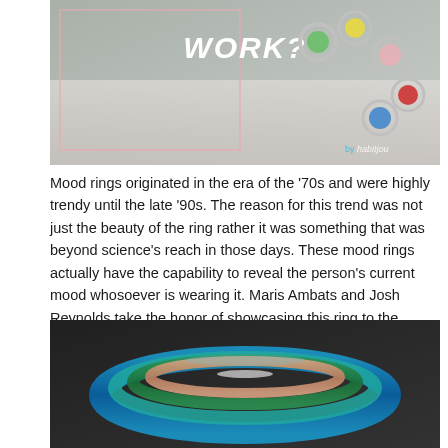[Figure (photo): Partial view of colorful mood rings with green, yellow, pink, red, and blue beads on a light background. Text 'WORK?' visible in white bold italic letters. Watermark 'by habitjou' in bottom right corner.]
Mood rings originated in the era of the '70s and were highly trendy until the late '90s. The reason for this trend was not just the beauty of the ring rather it was something that was beyond science's reach in those days. These mood rings actually have the capability to reveal the person's current mood whosoever is wearing it. Maris Ambats and Josh Reynolds take the honor of showcasing this ring to the world back in 1975.
[Figure (photo): Close-up photograph of mood rings stacked together, showing blue, teal, green, and rose gold/copper colored rings against a dark blurred background.]